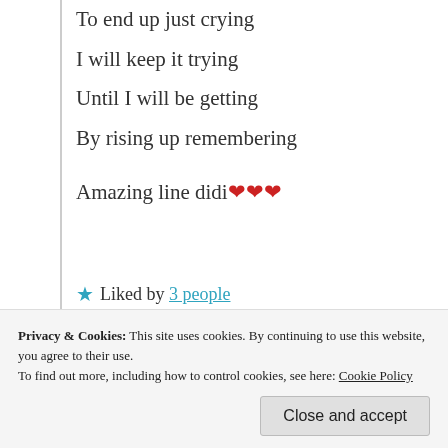To end up just crying
I will keep it trying
Until I will be getting
By rising up remembering
Amazing line didi ❤️❤️❤️
★ Liked by 3 people
Log in to Reply
Privacy & Cookies: This site uses cookies. By continuing to use this website, you agree to their use. To find out more, including how to control cookies, see here: Cookie Policy
Close and accept
thanks for listening to your Di. You